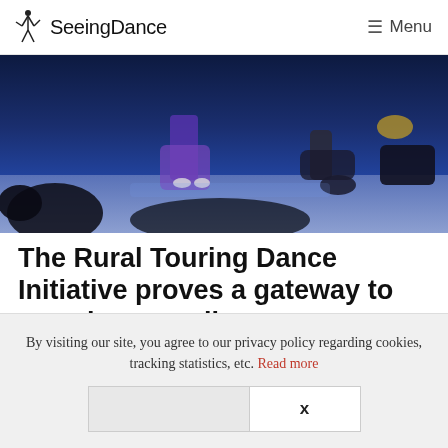SeeingDance — Menu
[Figure (photo): Dark stage photo showing dancers' lower bodies against a blue stage backdrop — legs, feet, and flowing costume details visible, audience silhouettes in foreground]
The Rural Touring Dance Initiative proves a gateway to new dance audiences
March 13, 2022 by Maggie Foyer
By visiting our site, you agree to our privacy policy regarding cookies, tracking statistics, etc. Read more
X